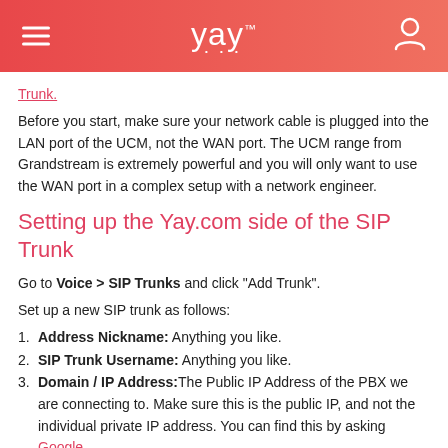yay
Trunk.
Before you start, make sure your network cable is plugged into the LAN port of the UCM, not the WAN port. The UCM range from Grandstream is extremely powerful and you will only want to use the WAN port in a complex setup with a network engineer.
Setting up the Yay.com side of the SIP Trunk
Go to Voice > SIP Trunks and click "Add Trunk".
Set up a new SIP trunk as follows:
Address Nickname: Anything you like.
SIP Trunk Username: Anything you like.
Domain / IP Address: The Public IP Address of the PBX we are connecting to. Make sure this is the public IP, and not the individual private IP address. You can find this by asking Google
Port / Transport: These need to match your PBX